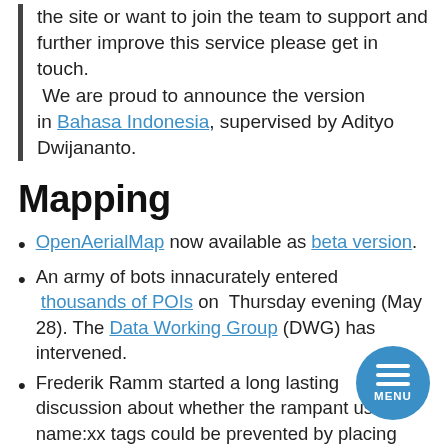the site or want to join the team to support and further improve this service please get in touch. We are proud to announce the version in Bahasa Indonesia, supervised by Adityo Dwijananto.
Mapping
OpenAerialMap now available as beta version.
An army of bots innacurately entered thousands of POIs on Thursday evening (May 28). The Data Working Group (DWG) has intervened.
Frederik Ramm started a long lasting discussion about whether the rampant use of name:xx tags could be prevented by placing them in Wikidata instead of OpenStreetMap.
Simon Poole provides a « sneak preview » of the next release of Vespucci.